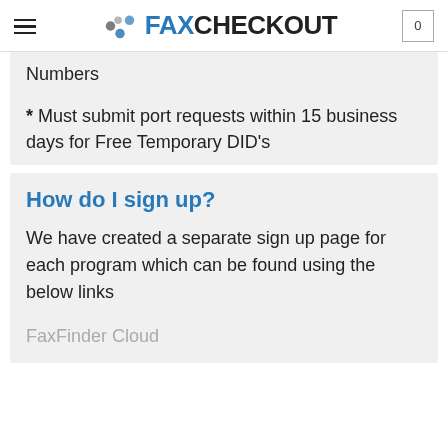FAX CHECKOUT
Numbers
* Must submit port requests within 15 business days for Free Temporary DID's
How do I sign up?
We have created a separate sign up page for each program which can be found using the below links
FaxFinder Cloud